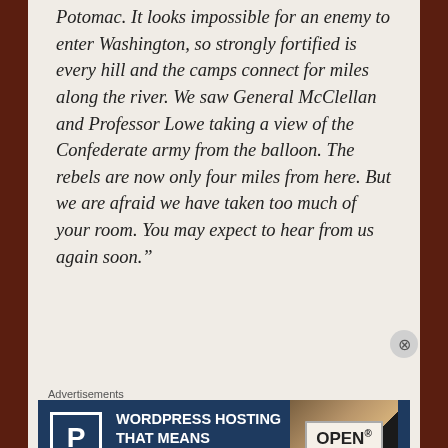Potomac. It looks impossible for an enemy to enter Washington, so strongly fortified is every hill and the camps connect for miles along the river. We saw General McClellan and Professor Lowe taking a view of the Confederate army from the balloon. The rebels are now only four miles from here. But we are afraid we have taken too much of your room. You may expect to hear from us again soon.”
Advertisements
[Figure (other): WordPress Hosting advertisement banner: dark blue background with white P box logo, text 'WORDPRESS HOSTING THAT MEANS BUSINESS.' and photo of open sign on right]
Advertisements
[Figure (other): Victoria's Secret advertisement banner: pink background with model photo on left, Victoria's Secret script logo, text 'SHOP THE COLLECTION', and 'SHOP NOW' button]